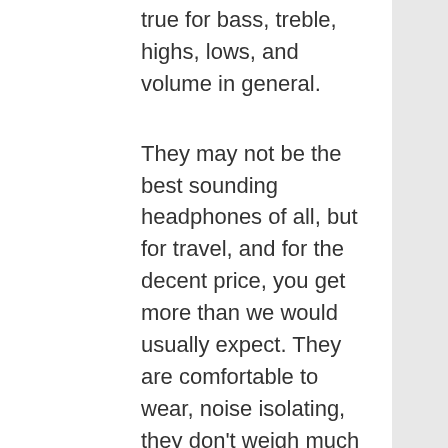true for bass, treble, highs, lows, and volume in general.
They may not be the best sounding headphones of all, but for travel, and for the decent price, you get more than we would usually expect. They are comfortable to wear, noise isolating, they don't weigh much or take up much space, and for the decent price, their sound quality is pretty good.
Pros